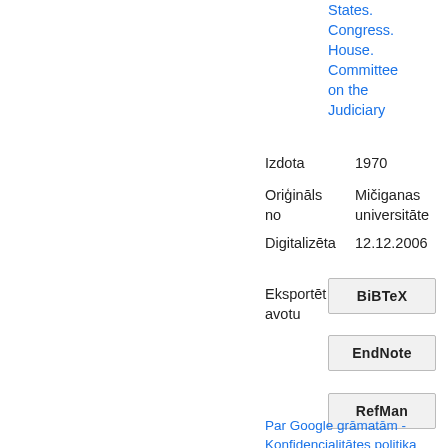States. Congress. House. Committee on the Judiciary
Izdota
1970
Oriģināls no
Mičiganas universitāte
Digitalizēta
12.12.2006
Eksportēt avotu
BiBTeX
EndNote
RefMan
Par Google grāmatām - Konfidencialitātes politika